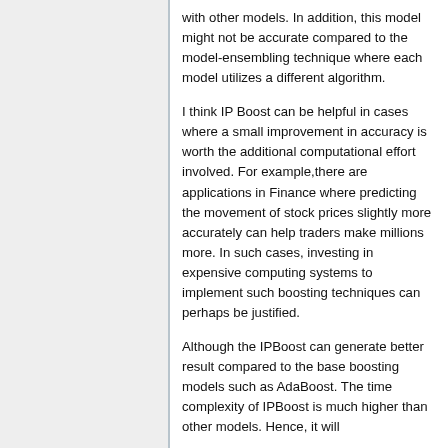with other models. In addition, this model might not be accurate compared to the model-ensembling technique where each model utilizes a different algorithm.
I think IP Boost can be helpful in cases where a small improvement in accuracy is worth the additional computational effort involved. For example,there are applications in Finance where predicting the movement of stock prices slightly more accurately can help traders make millions more. In such cases, investing in expensive computing systems to implement such boosting techniques can perhaps be justified.
Although the IPBoost can generate better result compared to the base boosting models such as AdaBoost. The time complexity of IPBoost is much higher than other models. Hence, it will